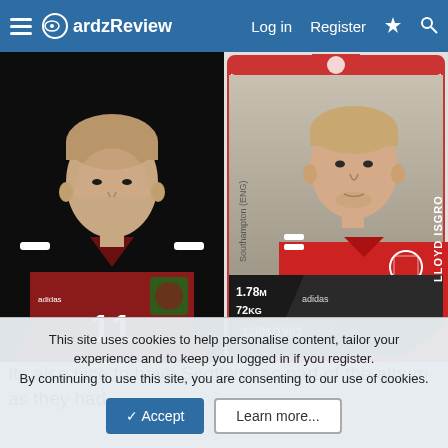CardzReview — Log in | Register
[Figure (photo): Footballer wearing red Wales national team jersey with number 11, Adidas logo, dark background]
[Figure (other): Football sticker card showing player in red Wales jersey, text: LLOYD ISGRO, Southampton (ENG), 1.78m, 72kg, 12/01/1993]
Its also nice to have Scotland as part of the album as they had
This site uses cookies to help personalise content, tailor your experience and to keep you logged in if you register.
By continuing to use this site, you are consenting to our use of cookies.